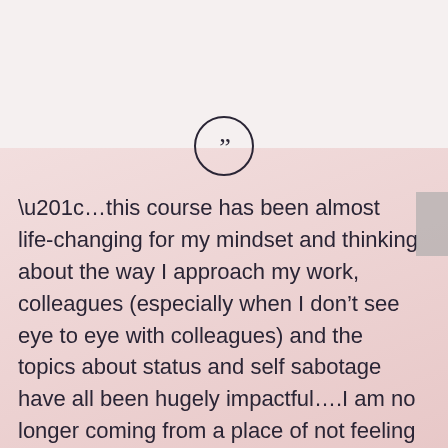[Figure (illustration): Circular quotation mark icon — a circle outline with a closing double-quotation mark inside]
“…this course has been almost life-changing for my mindset and thinking about the way I approach my work, colleagues (especially when I don’t see eye to eye with colleagues) and the topics about status and self sabotage have all been hugely impactful….I am no longer coming from a place of not feeling good enough, I am approaching